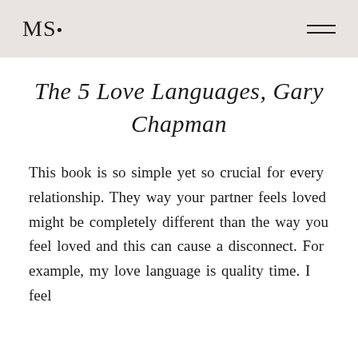MS•
The 5 Love Languages, Gary Chapman
This book is so simple yet so crucial for every relationship. They way your partner feels loved might be completely different than the way you feel loved and this can cause a disconnect. For example, my love language is quality time. I feel